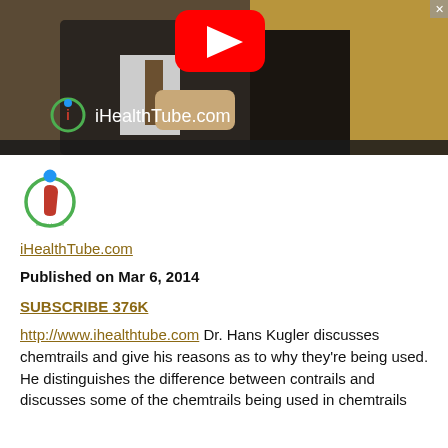[Figure (screenshot): YouTube video thumbnail showing a man in a suit with a tie, looking downward. iHealthTube.com logo and text overlay visible. Red YouTube play button icon in top center.]
[Figure (logo): iHealthTube.com logo — green circular icon with red stylized 'i' and blue dot above, with 'iHealthTube.com' text underneath in circular green border.]
iHealthTube.com
Published on Mar 6, 2014
SUBSCRIBE 376K
http://www.ihealthtube.com Dr. Hans Kugler discusses chemtrails and give his reasons as to why they're being used. He distinguishes the difference between contrails and discusses some of the chemtrails being used in chemtrails